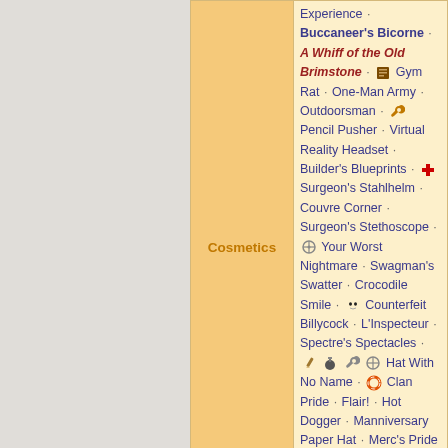| Category | Content |
| --- | --- |
| Cosmetics | Experience · Buccaneer's Bicorne · A Whiff of the Old Brimstone · [icon] Gym Rat · One-Man Army · Outdoorsman · [icon] Pencil Pusher · Virtual Reality Headset · Builder's Blueprints · [icon] Surgeon's Stahlhelm · Couvre Corner · Surgeon's Stethoscope · [icon] Your Worst Nightmare · Swagman's Swatter · Crocodile Smile · [icon] Counterfeit Billycock · L'Inspecteur · Spectre's Spectacles · [icon][icon][icon][icon] Hat With No Name · [icon] Clan Pride · Flair! · Hot Dogger · Manniversary Paper Hat · Merc's Pride Scarf · Photo Badge · Salty Dog |
| Item sets | [icon] Swashbuckler's Swag |
| Taunts | [icon] High Five! |
| Action items | [icon] Manniversary Package · Decal Tool · Noise Maker - Vuvuzela |